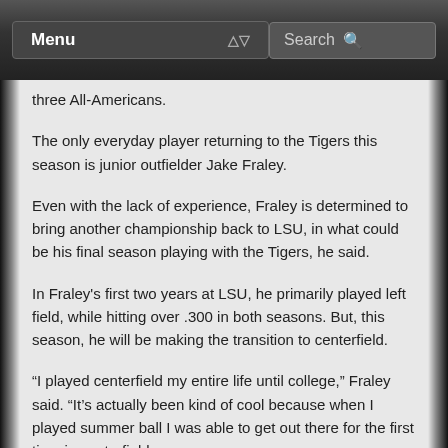Menu | Search
three All-Americans.
The only everyday player returning to the Tigers this season is junior outfielder Jake Fraley.
Even with the lack of experience, Fraley is determined to bring another championship back to LSU, in what could be his final season playing with the Tigers, he said.
In Fraley's first two years at LSU, he primarily played left field, while hitting over .300 in both seasons. But, this season, he will be making the transition to centerfield.
“I played centerfield my entire life until college,” Fraley said. “It’s actually been kind of cool because when I played summer ball I was able to get out there for the first time in centerfield.